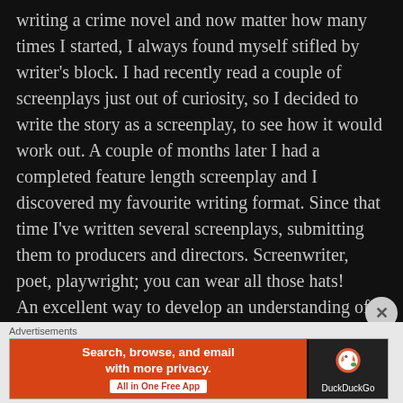writing a crime novel and now matter how many times I started, I always found myself stifled by writer's block. I had recently read a couple of screenplays just out of curiosity, so I decided to write the story as a screenplay, to see how it would work out. A couple of months later I had a completed feature length screenplay and I discovered my favourite writing format. Since that time I've written several screenplays, submitting them to producers and directors. Screenwriter, poet, playwright; you can wear all those hats! An excellent way to develop an understanding of different formats, discover how they relate to each other, and how they are adapted for movies, is to use the
[Figure (other): Advertisement banner: DuckDuckGo ad with orange left panel reading 'Search, browse, and email with more privacy. All in One Free App' and dark right panel with DuckDuckGo logo and text.]